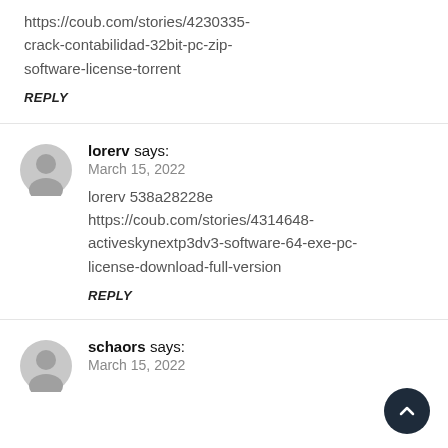https://coub.com/stories/4230335-crack-contabilidad-32bit-pc-zip-software-license-torrent
REPLY
lorerv says:
March 15, 2022
lorerv 538a28228e https://coub.com/stories/4314648-activeskynextp3dv3-software-64-exe-pc-license-download-full-version
REPLY
schaors says:
March 15, 2022